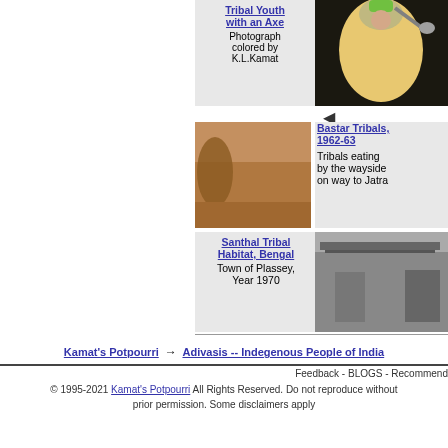[Figure (photo): Tribal youth with an axe, photograph colored by K.L.Kamat; colored illustration showing figure in yellow/green attire holding axe]
Tribal Youth with an Axe
Photograph colored by K.L.Kamat
[Figure (photo): Bastar Tribals 1962-63, sepia photograph of tribals eating by the wayside on way to Jatra]
Bastar Tribals, 1962-63
Tribals eating by the wayside on way to Jatra
[Figure (photo): Santhal Tribal Habitat, Bengal — Town of Plassey, Year 1970, black and white photograph of tribal habitat]
Santhal Tribal Habitat, Bengal
Town of Plassey, Year 1970
Kamat's Potpourri → Adivasis -- Indegenous People of India
Feedback - BLOGS - Recommend
© 1995-2021 Kamat's Potpourri All Rights Reserved. Do not reproduce without prior permission. Some disclaimers apply